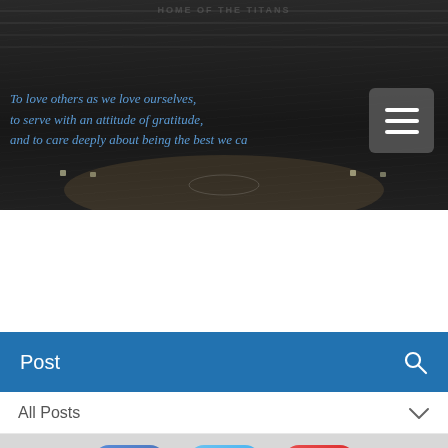[Figure (photo): Black and white photo of a basketball arena (Home of the Titans) with a blue italic quote overlay: 'To love others as we love ourselves, to serve with an attitude of gratitude, and to care deeply about being the best we ca...' and a hamburger menu button in the top right corner.]
[Figure (infographic): Social media icons bar: Facebook (blue rounded square), Twitter (light blue rounded square), YouTube (red rounded square)]
Post
All Posts
Coach Hueser  Jun 22, 2018 • 2 min
South Titan Basketball Camp 2018